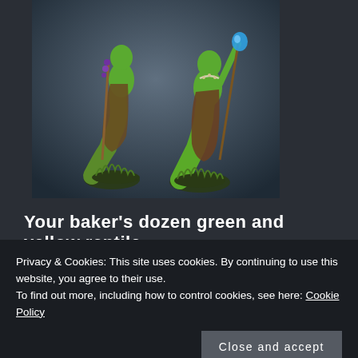[Figure (photo): Two green reptile humanoid miniatures (snake-people/yuan-ti style) painted in bright green with brown cloaks, one holding a staff with purple beads and one holding a staff with a blue gem. They are posed on black bases with grass tufts, photographed against a dark blue-grey background.]
Your baker’s dozen green and yellow reptile
Privacy & Cookies: This site uses cookies. By continuing to use this website, you agree to their use.
To find out more, including how to control cookies, see here: Cookie Policy
[Figure (photo): Partial view of another miniature photo at the bottom of the page, showing a dark teal/blue background with a small portion of a miniature visible.]